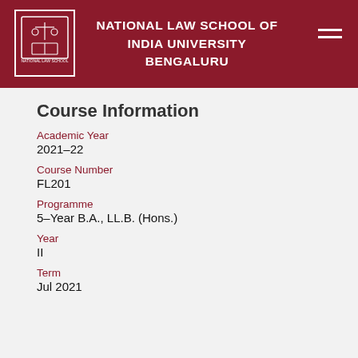NATIONAL LAW SCHOOL OF INDIA UNIVERSITY BENGALURU
Course Information
Academic Year
2021–22
Course Number
FL201
Programme
5–Year B.A., LL.B. (Hons.)
Year
II
Term
Jul 2021